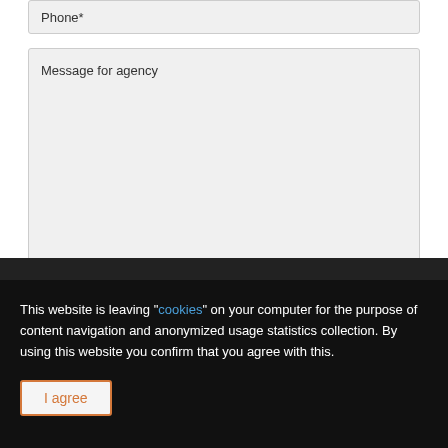Phone*
Message for agency
I allow my personal information to be collected through this contact form for real estate information forwarding via email or a phone*
[Figure (other): Green submit button with white paper plane/send icon]
This website is leaving "cookies" on your computer for the purpose of content navigation and anonymized usage statistics collection. By using this website you confirm that you agree with this.
I agree